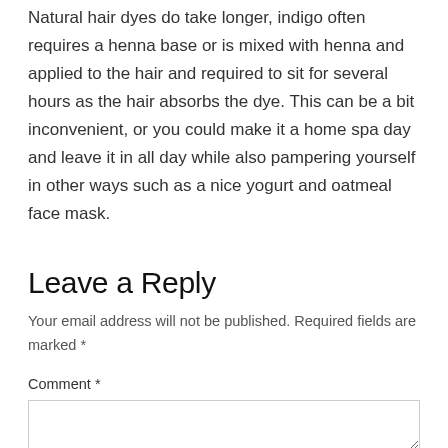Natural hair dyes do take longer, indigo often requires a henna base or is mixed with henna and applied to the hair and required to sit for several hours as the hair absorbs the dye. This can be a bit inconvenient, or you could make it a home spa day and leave it in all day while also pampering yourself in other ways such as a nice yogurt and oatmeal face mask.
Leave a Reply
Your email address will not be published. Required fields are marked *
Comment *